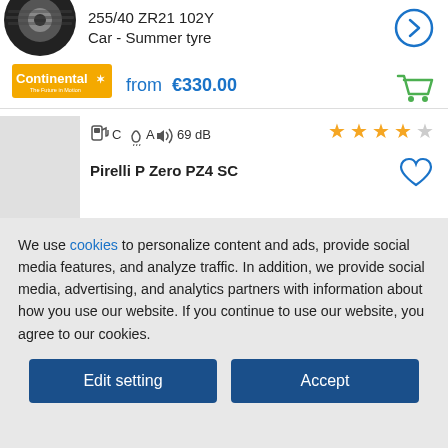[Figure (photo): Tyre image (top portion visible) and Continental brand logo in orange]
255/40 ZR21 102Y
Car - Summer tyre
from €330.00
C  A  69 dB
Pirelli P Zero PZ4 SC
We use cookies to personalize content and ads, provide social media features, and analyze traffic. In addition, we provide social media, advertising, and analytics partners with information about your use of our website. If you continue to use our website, you agree to our cookies.
Edit setting
Accept